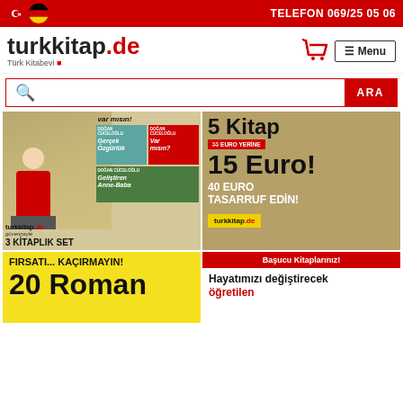TELEFON 069/25 05 06
turkkitap.de Türk Kitabevi
☰ Menu
🔍 ARA
[Figure (photo): Book set banner: 3 KİTAPLIK SET featuring Doğan Cüceloğlu books (Gerçek Özgürlük, Var mısın?, Geliştiren Anne-Baba). turkkitap.de güvenceyle logo shown.]
[Figure (photo): Promotional banner: 5 kitap for 15 Euro! 40 EURO TASARRUF EDİN! with turkkitap.de branding on olive/khaki background]
[Figure (photo): Yellow banner: FIRSATI... KAÇIRMAYIN! 20 Roman]
[Figure (photo): White banner: Başucu Kitaplarınız! Hayatımızı değiştirecek öğretilen]